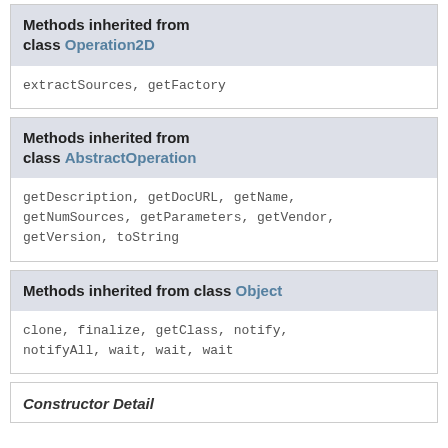Methods inherited from class Operation2D
extractSources, getFactory
Methods inherited from class AbstractOperation
getDescription, getDocURL, getName, getNumSources, getParameters, getVendor, getVersion, toString
Methods inherited from class Object
clone, finalize, getClass, notify, notifyAll, wait, wait, wait
Constructor Detail